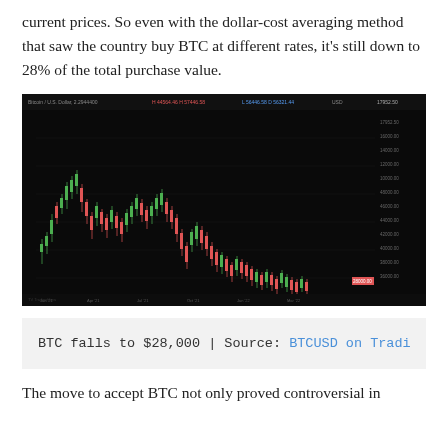current prices. So even with the dollar-cost averaging method that saw the country buy BTC at different rates, it's still down to 28% of the total purchase value.
[Figure (screenshot): A dark-themed candlestick chart showing BTCUSD price falling from around $47,000-$48,000 down to approximately $28,000, with red and green candles on a black background. Price axis visible on right side, time axis on bottom. TradingView watermark visible.]
BTC falls to $28,000 | Source: BTCUSD on TradingView
The move to accept BTC not only proved controversial in